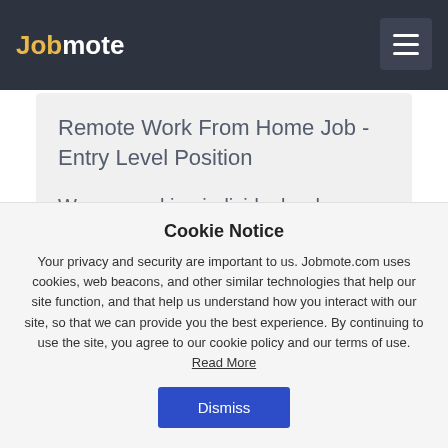Jobmote
Remote Work From Home Job - Entry Level Position
We are seeking individuals who are looking for part-time or full-time work or side gigs to be connected with companies who are hiring employees
Cookie Notice
Your privacy and security are important to us. Jobmote.com uses cookies, web beacons, and other similar technologies that help our site function, and that help us understand how you interact with our site, so that we can provide you the best experience. By continuing to use the site, you agree to our cookie policy and our terms of use. Read More
Dismiss